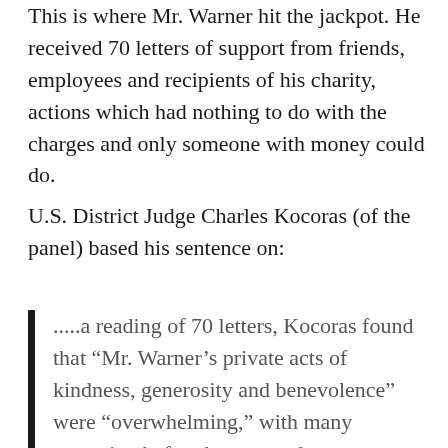This is where Mr. Warner hit the jackpot. He received 70 letters of support from friends, employees and recipients of his charity, actions which had nothing to do with the charges and only someone with money could do.
U.S. District Judge Charles Kocoras (of the panel) based his sentence on:
.....a reading of 70 letters, Kocoras found that “Mr. Warner’s private acts of kindness, generosity and benevolence” were “overwhelming,” with many occurring before he was under investigation and, in Kocoras’ words, motivated by “the purest of intentions.” Most were done